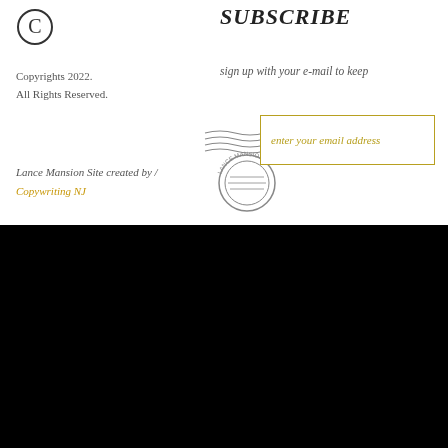[Figure (logo): Copyright symbol C in a circle, outlined]
SUBSCRIBE
Copyrights 2022.
All Rights Reserved.
sign up with your e-mail to keep
[Figure (illustration): Vintage postal stamp illustration with wavy cancel lines and circular postmark]
enter your email address
Lance Mansion Site created by / Copywriting NJ